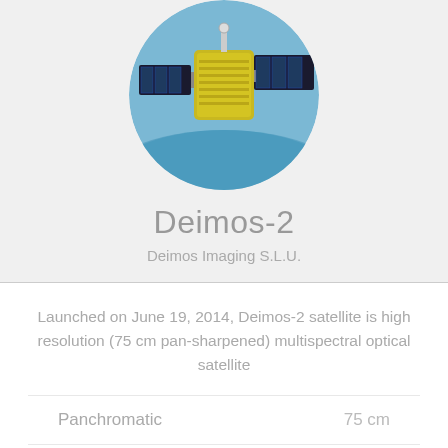[Figure (photo): Circular cropped photo of the Deimos-2 satellite in orbit, showing a gold/yellow satellite with solar panels against a blue Earth background]
Deimos-2
Deimos Imaging S.L.U.
Launched on June 19, 2014, Deimos-2 satellite is high resolution (75 cm pan-sharpened) multispectral optical satellite
|  |  |  |
| --- | --- | --- |
| Panchromatic |  | 75 cm |
| Multispectral | 4 | 3 m |
Learn More...